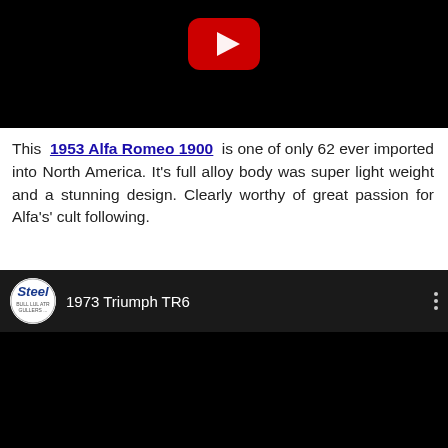[Figure (screenshot): YouTube video player thumbnail area showing black background with red YouTube play button icon at top center]
This 1953 Alfa Romeo 1900 is one of only 62 ever imported into North America. It's full alloy body was super light weight and a stunning design. Clearly worthy of great passion for Alfa's' cult following.
[Figure (screenshot): YouTube video embed for '1973 Triumph TR6' showing channel icon (Steel), video title, three-dot menu, and black video area]